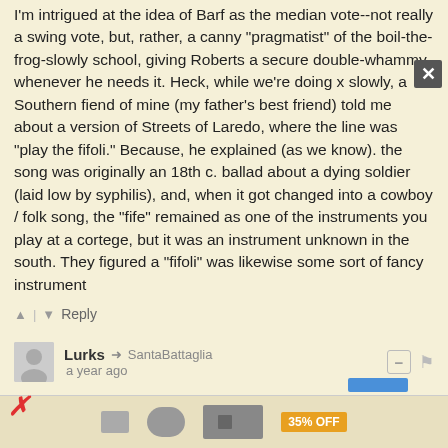I'm intrigued at the idea of Barf as the median vote--not really a swing vote, but, rather, a canny "pragmatist" of the boil-the-frog-slowly school, giving Roberts a secure double-whammy, whenever he needs it. Heck, while we're doing x slowly, a Southern fiend of mine (my father's best friend) told me about a version of Streets of Laredo, where the line was "play the fifoli." Because, he explained (as we know). the song was originally an 18th c. ballad about a dying soldier (laid low by syphilis), and, when it got changed into a cowboy / folk song, the "fife" remained as one of the instruments you play at a cortege, but it was an instrument unknown in the south. They figured a "fifoli" was likewise some sort of fancy instrument
▲ | ▼  Reply
Lurks → SantaBattaglia
a year ago
A Southern fiend of yours? Do tell...